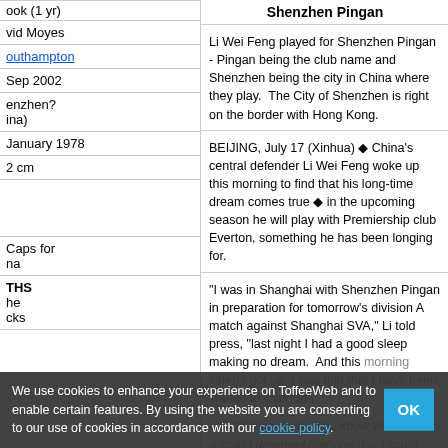ook (1 yr)
Shenzhen Pingan
vid Moyes
outhampton
Li Wei Feng played for Shenzhen Pingan - Pingan being the club name and Shenzhen being the city in China where they play. The City of Shenzhen is right on the border with Hong Kong.
Sep 2002
BEIJING, July 17 (Xinhua) ◆ China's central defender Li Wei Feng woke up this morning to find that his long-time dream comes true ◆ in the upcoming season he will play with Premiership club Everton, something he has been longing for.
enzhen?
ina)
January 1978
2 cm
"I was in Shanghai with Shenzhen Pingan in preparation for tomorrow's division A match against Shanghai SVA," Li told press, "last night I had a good sleep making no dream. And this morning when I got up, I was told that I have been loaned to Everton
Caps for
na
THS
he
cks
old defender said, "you know when I was a child I dreamed that one day I could...
We use cookies to enhance your experience on ToffeeWeb and to enable certain features. By using the website you are consenting to our use of cookies in accordance with our cookie policy.